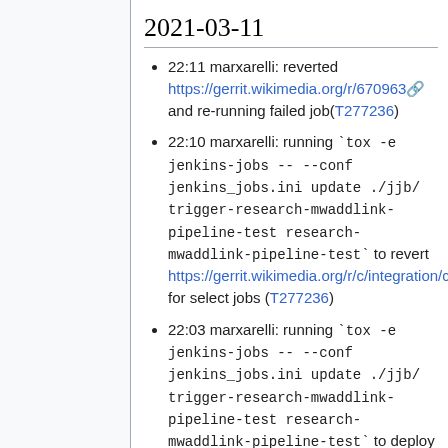2021-03-11
22:11 marxarelli: reverted https://gerrit.wikimedia.org/r/670963 and re-running failed job(T277236)
22:10 marxarelli: running `tox -e jenkins-jobs -- --conf jenkins_jobs.ini update ./jjb/ trigger-research-mwaddlink-pipeline-test research-mwaddlink-pipeline-test` to revert https://gerrit.wikimedia.org/r/c/integration/config/+/668199 for select jobs (T277236)
22:03 marxarelli: running `tox -e jenkins-jobs -- --conf jenkins_jobs.ini update ./jjb/ trigger-research-mwaddlink-pipeline-test research-mwaddlink-pipeline-test` to deploy https://gerrit.wikimedia.org/r/c/integra